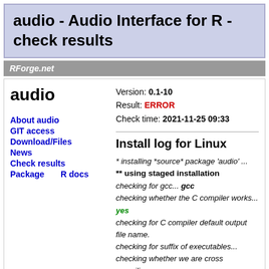audio - Audio Interface for R - check results
RForge.net
audio
Version: 0.1-10
Result: ERROR
Check time: 2021-11-25 09:33
About audio
GIT access
Download/Files
News
Check results
Package docs
Install log for Linux
* installing *source* package 'audio' ...
** using staged installation
checking for gcc... gcc
checking whether the C compiler works... yes
checking for C compiler default output file name.
checking for suffix of executables...
checking whether we are cross compiling... no
checking for suffix of object files... o
checking whether the compiler supports GNU C.
checking whether gcc accepts -g... yes
checking for gcc option to enable C11 features...
checking AudioUnits... no
checking for stdio.h... yes